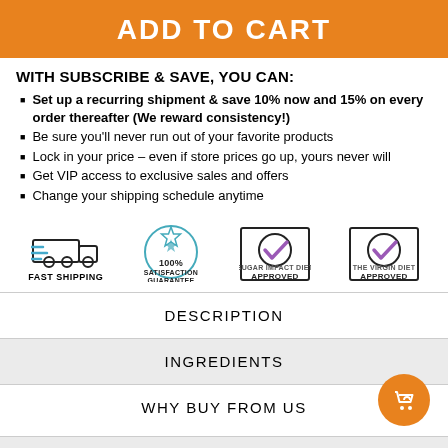ADD TO CART
WITH SUBSCRIBE & SAVE, YOU CAN:
Set up a recurring shipment & save 10% now and 15% on every order thereafter (We reward consistency!)
Be sure you'll never run out of your favorite products
Lock in your price – even if store prices go up, yours never will
Get VIP access to exclusive sales and offers
Change your shipping schedule anytime
[Figure (infographic): Four trust badges in a row: Fast Shipping (truck icon), 100% Satisfaction Guarantee (seal icon), Sugar Impact Diet Approved (checkmark badge), The Virgin Diet Approved (checkmark badge)]
DESCRIPTION
INGREDIENTS
WHY BUY FROM US
SHIPPING